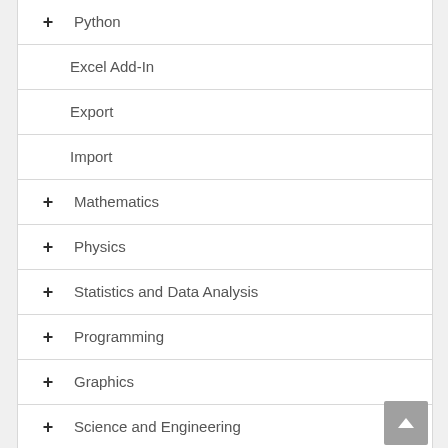+ Python
Excel Add-In
Export
Import
+ Mathematics
+ Physics
+ Statistics and Data Analysis
+ Programming
+ Graphics
+ Science and Engineering
+ Applications and Example Worksheets